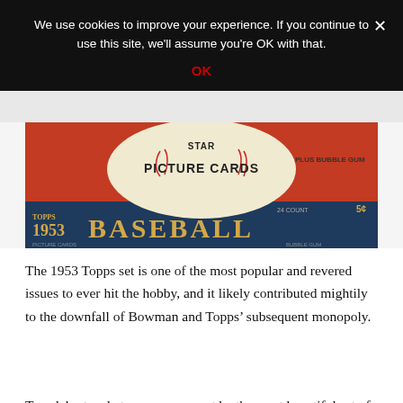We use cookies to improve your experience. If you continue to use this site, we'll assume you're OK with that.
OK
[Figure (photo): Photo of a 1953 Topps Baseball Picture Cards box, red with a baseball oval graphic and blue bottom stripe reading BASEBALL in gold letters, with PLUS BUBBLE GUM text visible.]
The 1953 Topps set is one of the most popular and revered issues to ever hit the hobby, and it likely contributed mightily to the downfall of Bowman and Topps’ subsequent monopoly.
To celebrate what may or may not be the most beautiful set of all-time, let’s take a run through the most valuable 1953 Topps baseball cards.